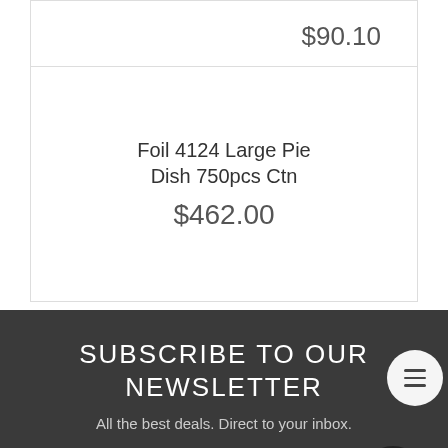$90.10
Foil 4124 Large Pie Dish 750pcs Ctn
$462.00
SUBSCRIBE TO OUR NEWSLETTER
All the best deals. Direct to your inbox.
Email Address
I have read and agree to Terms & Conditions and Privacy Policy.